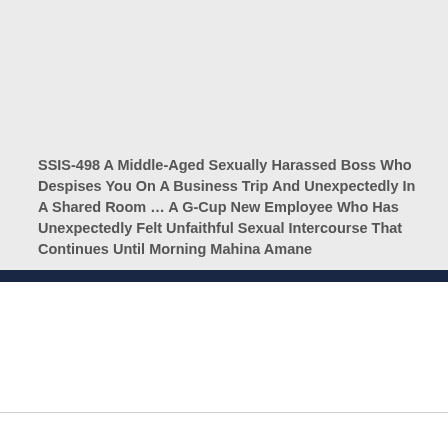SSIS-498 A Middle-Aged Sexually Harassed Boss Who Despises You On A Business Trip And Unexpectedly In A Shared Room … A G-Cup New Employee Who Has Unexpectedly Felt Unfaithful Sexual Intercourse That Continues Until Morning Mahina Amane
Start Gambli...
Play Crash, H...
Yo...
An...